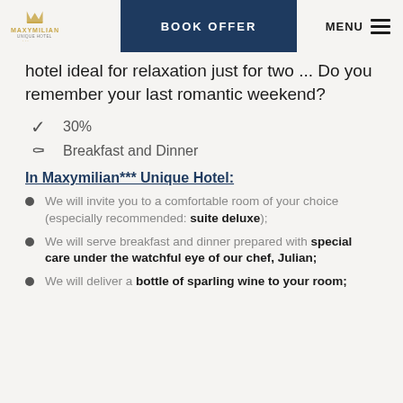BOOK OFFER | MENU | Maxymilian Unique Hotel logo
hotel ideal for relaxation just for two ... Do you remember your last romantic weekend?
30%
Breakfast and Dinner
In Maxymilian*** Unique Hotel:
We will invite you to a comfortable room of your choice (especially recommended: suite deluxe);
We will serve breakfast and dinner prepared with special care under the watchful eye of our chef, Julian;
We will deliver a bottle of sparling wine to your room;